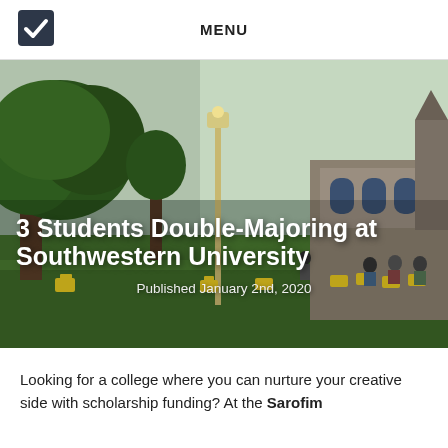MENU
[Figure (photo): Campus photo of Southwestern University showing large oak trees, a lamp post, yellow Adirondack chairs on green lawn, and a stone church/building in the background. Students are seated on the lawn.]
3 Students Double-Majoring at Southwestern University
Published January 2nd, 2020
Looking for a college where you can nurture your creative side with scholarship funding? At the Sarofim